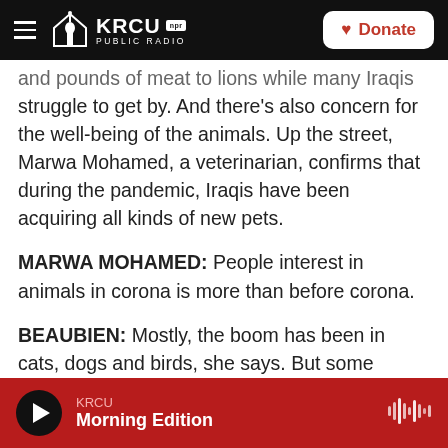KRCU NPR PUBLIC RADIO | Donate
and pounds of meat to lions while many Iraqis struggle to get by. And there's also concern for the well-being of the animals. Up the street, Marwa Mohamed, a veterinarian, confirms that during the pandemic, Iraqis have been acquiring all kinds of new pets.
MARWA MOHAMED: People interest in animals in corona is more than before corona.
BEAUBIEN: Mostly, the boom has been in cats, dogs and birds, she says. But some people have been getting wild animals, including foxes and monkeys. And then there's the issue of the lions.
KRCU Morning Edition